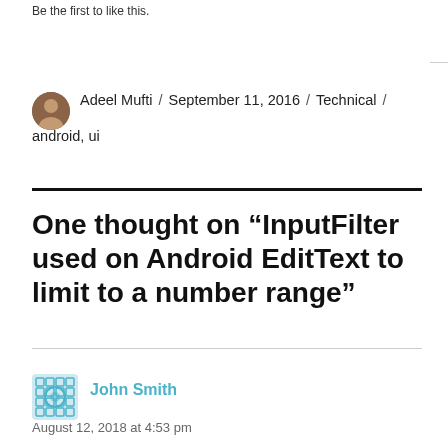Be the first to like this.
Adeel Mufti / September 11, 2016 / Technical / android, ui
One thought on “InputFilter used on Android EditText to limit to a number range”
John Smith
August 12, 2018 at 4:53 pm